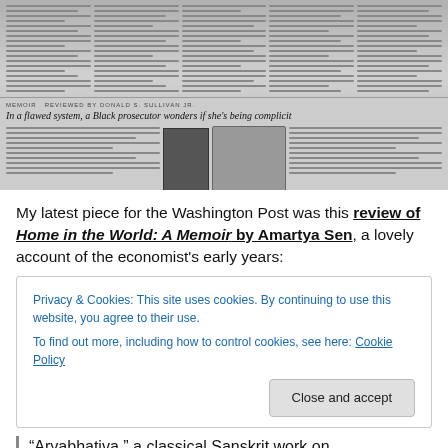[Figure (photo): Newspaper page photograph showing multiple columns of text, a book cover image for 'Just Pursuit', a portrait photo, and a headline reading 'In a flawed system, a Black prosecutor wonders if she's being complicit'. Section label reads 'MEMOIR REVIEWED BY DONALD S. SULLIVAN JR.']
My latest piece for the Washington Post was this review of Home in the World: A Memoir by Amartya Sen, a lovely account of the economist's early years:
Privacy & Cookies: This site uses cookies. By continuing to use this website, you agree to their use.
To find out more, including how to control cookies, see here: Cookie Policy
Close and accept
“Aryabhativa,” a classical Sanskrit work on